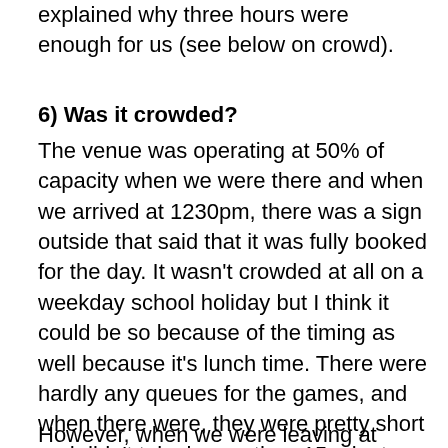explained why three hours were enough for us (see below on crowd).
6) Was it crowded?
The venue was operating at 50% of capacity when we were there and when we arrived at 1230pm, there was a sign outside that said that it was fully booked for the day. It wasn't crowded at all on a weekday school holiday but I think it could be so because of the timing as well because it's lunch time. There were hardly any queues for the games, and when there were, they were pretty short and didn't take longer than 15 minutes.
However, when we were leaving at